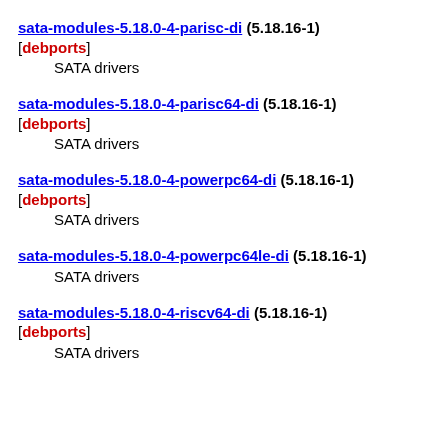sata-modules-5.18.0-4-parisc-di (5.18.16-1) [debports]
    SATA drivers
sata-modules-5.18.0-4-parisc64-di (5.18.16-1) [debports]
    SATA drivers
sata-modules-5.18.0-4-powerpc64-di (5.18.16-1) [debports]
    SATA drivers
sata-modules-5.18.0-4-powerpc64le-di (5.18.16-1)
    SATA drivers
sata-modules-5.18.0-4-riscv64-di (5.18.16-1) [debports]
    SATA drivers